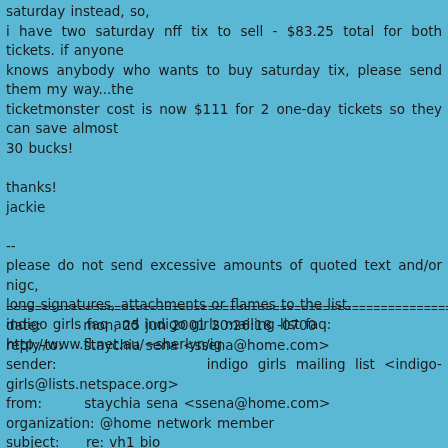saturday instead, so,
i have two saturday nff tix to sell - $83.25 total for both tickets. if anyone
knows anybody who wants to buy saturday tix, please send them my way...the
ticketmonster cost is now $111 for 2 one-day tickets so they can save almost
30 bucks!

thanks!
jackie

--
please do not send excessive amounts of quoted text and/or nigc,
long signatures, attachments or flames to the list.
indigo girls faq and indigo girls mailing list faq:
http://www.fl.net.au/~sherlyn/ig
date:        mon, 25 jun 2001 20:26:18 -0700
reply-to:    staychia sena <ssena@home.com>
sender:                indigo girls mailing list <indigo-girls@lists.netspace.org>
from:        staychia sena <ssena@home.com>
organization: @home network member
subject:     re: vh1 bio